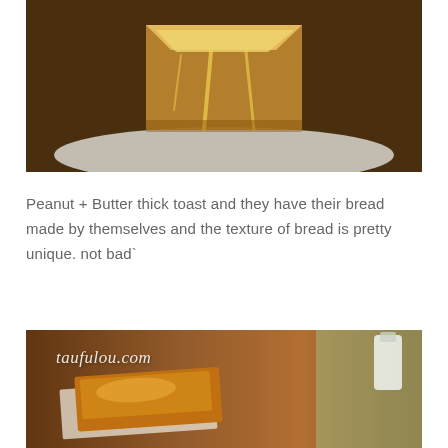[Figure (photo): Close-up photo of a thick slice of peanut butter toast on a white plate, with butter melting and dripping down the sides of the bread. Dark brown bread, golden butter topping, on a wooden surface.]
Peanut + Butter thick toast and they have their bread made by themselves and the texture of bread is pretty unique. not bad`
[Figure (photo): Close-up photo of toast with jam/spread on a wooden table, with a watermark 'taufulou.com' in italic white text. Background shows blurred green bottle and warm brown tones.]